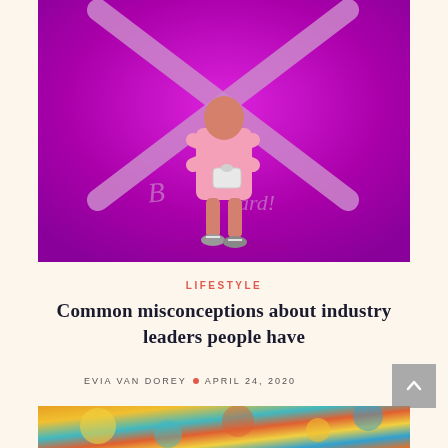[Figure (photo): Woman in a pink dress standing against a vivid magenta/purple wall with a large X painted on it, holding her arms crossed over her face, carrying a white handbag, wearing sneakers. The background has graffiti-style text.]
LIFESTYLE
Common misconceptions about industry leaders people have
EVIA VAN DOREY • APRIL 24, 2020
[Figure (photo): Partial view of a colorful abstract or nature-themed image in warm yellows, teals, and oranges at the bottom of the page.]